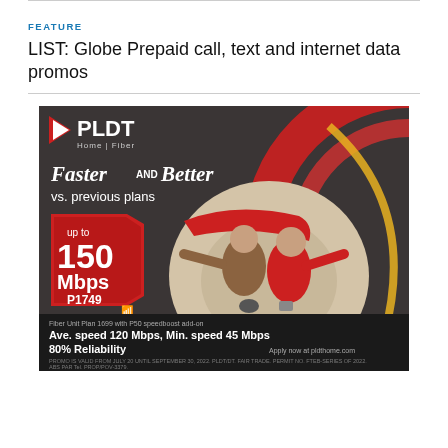FEATURE
LIST: Globe Prepaid call, text and internet data promos
[Figure (photo): PLDT Home Fiber advertisement showing a couple viewed from above in a circular red room with the text 'Faster AND Better vs. previous plans', featuring up to 150 Mbps speed for P1749, Ave. speed 120 Mbps, Min. speed 45 Mbps, 80% Reliability, Apply now at pldthome.com]